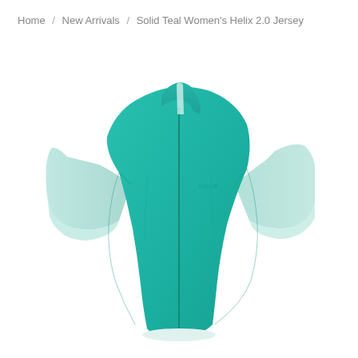Home / New Arrivals / Solid Teal Women's Helix 2.0 Jersey
[Figure (photo): A teal/turquoise women's cycling jersey (Helix 2.0) shown from the front-left angle. The jersey has a solid bright teal main body with lighter mint/pale teal sleeves and a white hem. It features a full-length front zipper and a small logo on the chest. The jersey is shown on an invisible mannequin against a white background.]